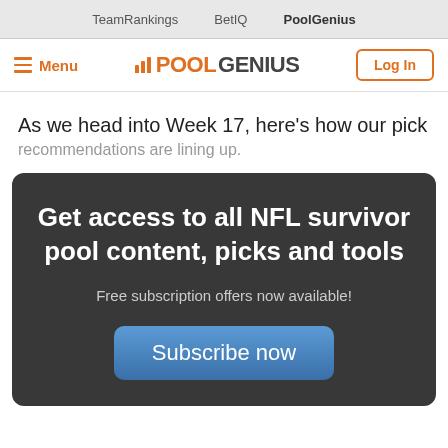TeamRankings   BetIQ   PoolGenius
[Figure (logo): PoolGenius logo with bar chart icon, orange POOL and dark GENIUS text, with Menu hamburger on left and Log In button on right]
As we head into Week 17, here's how our pick recommendations are lining up.
[Figure (infographic): Dark grey rounded box with white bold text: Get access to all NFL survivor pool content, picks and tools. Below: Free subscription offers now available! Then a blue Subscribe now button.]